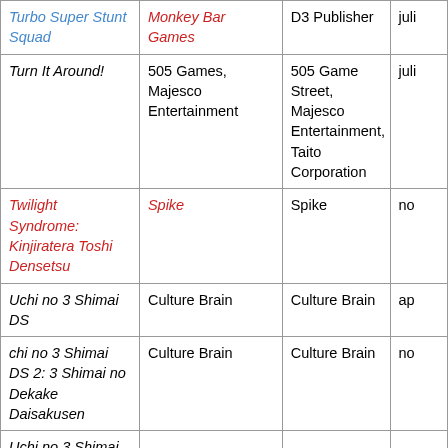| Title | Developer | Publisher | Date |
| --- | --- | --- | --- |
| Turbo Super Stunt Squad | Monkey Bar Games | D3 Publisher | juli |
| Turn It Around! | 505 Games, Majesco Entertainment | 505 Game Street, Majesco Entertainment, Taito Corporation | juli |
| Twilight Syndrome: Kinjiratera Toshi Densetsu | Spike | Spike | no |
| Uchi no 3 Shimai DS | Culture Brain | Culture Brain | ap |
| chi no 3 Shimai DS 2: 3 Shimai no Dekake Daisakusen | Culture Brain | Culture Brain | no |
| Uchi no 3 Shimai |  |  |  |